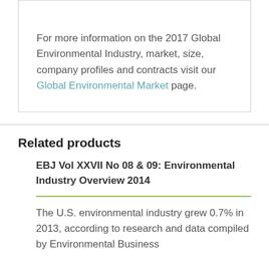For more information on the 2017 Global Environmental Industry, market, size, company profiles and contracts visit our Global Environmental Market page.
Related products
EBJ Vol XXVII No 08 & 09: Environmental Industry Overview 2014
The U.S. environmental industry grew 0.7% in 2013, according to research and data compiled by Environmental Business